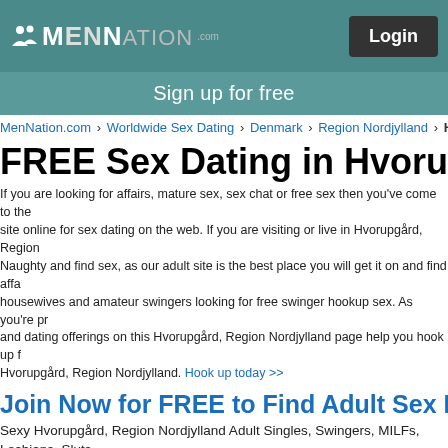MenNation.com - Login
Sign up for free
MenNation.com > Worldwide Sex Dating > Denmark > Region Nordjylland > Hvo
FREE Sex Dating in Hvorupgård
If you are looking for affairs, mature sex, sex chat or free sex then you've come to the site online for sex dating on the web. If you are visiting or live in Hvorupgård, Region Naughty and find sex, as our adult site is the best place you will get it on and find affairs housewives and amateur swingers looking for free swinger hookup sex. As you're pr and dating offerings on this Hvorupgård, Region Nordjylland page help you hook up f Hvorupgård, Region Nordjylland. Hook up today >>
Join Now for FREE to Find Adult Sex Near Hv
Sexy Hvorupgård, Region Nordjylland Adult Singles, Swingers, MILFs, Lesbians, Sluts
[Figure (photo): Profile photo of Angela3013]
[Figure (photo): Profile photo of Lubinan88]
[Figure (photo): Profile photo of kittyseeker0990]